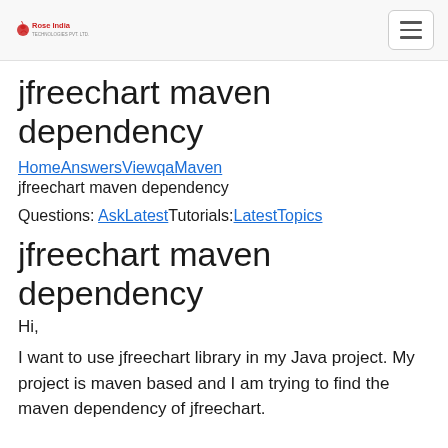Rose India [logo] [hamburger menu]
jfreechart maven dependency
HomeAnswersViewqaMaven
jfreechart maven dependency
Questions: AskLatestTutorials:LatestTopics
jfreechart maven dependency
Hi,
I want to use jfreechart library in my Java project. My project is maven based and I am trying to find the maven dependency of jfreechart.